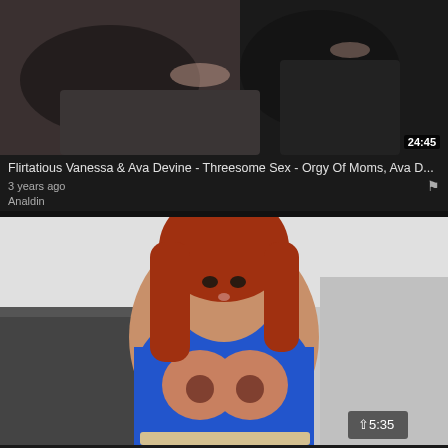[Figure (screenshot): Video thumbnail for first video result showing people on a bed, dark tones]
Flirtatious Vanessa & Ava Devine - Threesome Sex - Orgy Of Moms, Ava D...
3 years ago
Analdin
[Figure (screenshot): Video thumbnail for second video showing a woman with red hair in blue top indoors]
Ava Devine In POV PORN - MILF sex - King Of Dick, Ava Devine
1 year ago